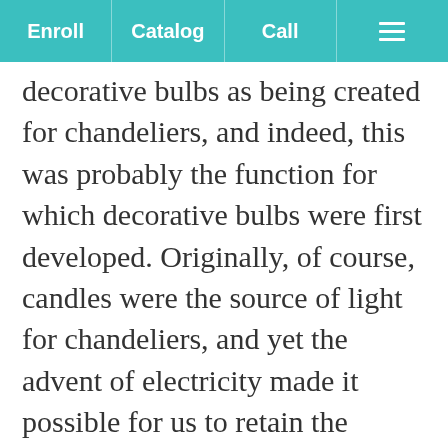Enroll | Catalog | Call | ≡
decorative bulbs as being created for chandeliers, and indeed, this was probably the function for which decorative bulbs were first developed. Originally, of course, candles were the source of light for chandeliers, and yet the advent of electricity made it possible for us to retain the elegant, romantic look of a chandelier without the risk of